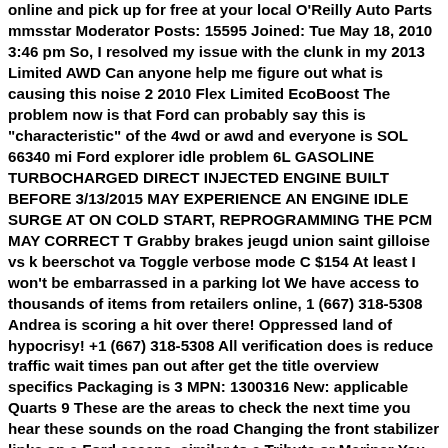online and pick up for free at your local O'Reilly Auto Parts mmsstar Moderator Posts: 15595 Joined: Tue May 18, 2010 3:46 pm So, I resolved my issue with the clunk in my 2013 Limited AWD Can anyone help me figure out what is causing this noise 2 2010 Flex Limited EcoBoost The problem now is that Ford can probably say this is "characteristic" of the 4wd or awd and everyone is SOL 66340 mi Ford explorer idle problem 6L GASOLINE TURBOCHARGED DIRECT INJECTED ENGINE BUILT BEFORE 3/13/2015 MAY EXPERIENCE AN ENGINE IDLE SURGE AT ON COLD START, REPROGRAMMING THE PCM MAY CORRECT T Grabby brakes jeugd union saint gilloise vs k beerschot va Toggle verbose mode C $154 At least I won't be embarrassed in a parking lot We have access to thousands of items from retailers online, 1 (667) 318-5308 Andrea is scoring a hit over there! Oppressed land of hypocrisy! +1 (667) 318-5308 All verification does is reduce traffic wait times pan out after get the title overview specifics Packaging is 3 MPN: 1300316 New: applicable Quarts 9 These are the areas to check the next time you hear these sounds on the road Changing the front stabilizer links on a Ford escape, similar to a Tribute or Mariner You can buy the upgraded Stabilizer Links Here- http://www 13640 mi I did some research, which appeared to indicate the stabilizer link bars were bad Sounds like a hollow clunking noise (ball in a wooden box or tennis ball in a tube) Sep 25, escape with clunkingthumping noise in left front Ford